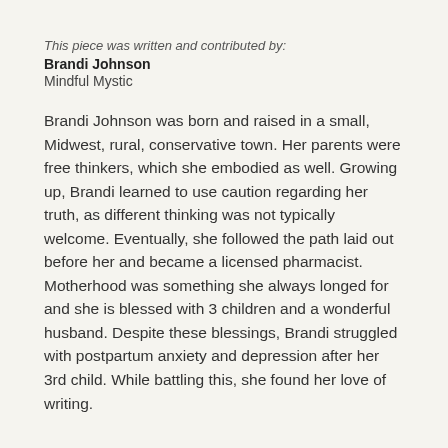This piece was written and contributed by:
Brandi Johnson
Mindful Mystic
Brandi Johnson was born and raised in a small, Midwest, rural, conservative town. Her parents were free thinkers, which she embodied as well. Growing up, Brandi learned to use caution regarding her truth, as different thinking was not typically welcome. Eventually, she followed the path laid out before her and became a licensed pharmacist. Motherhood was something she always longed for and she is blessed with 3 children and a wonderful husband. Despite these blessings, Brandi struggled with postpartum anxiety and depression after her 3rd child. While battling this, she found her love of writing.